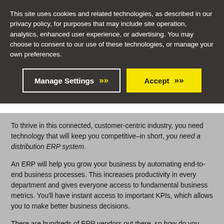This site uses cookies and related technologies, as described in our privacy policy, for purposes that may include site operation, analytics, enhanced user experience, or advertising. You may choose to consent to our use of these technologies, or manage your own preferences.
[Figure (other): Cookie consent banner with two buttons: 'Manage Settings' (dark background, white border, yellow chevrons) and 'Accept' (yellow background, dark chevrons)]
To thrive in this connected, customer-centric industry, you need technology that will keep you competitive–in short, you need a distribution ERP system.
An ERP will help you grow your business by automating end-to-end business processes. This increases productivity in every department and gives everyone access to fundamental business metrics. You'll have instant access to important KPIs, which allows you to make better business decisions.
There are hundreds of ERP vendors out there, so how do you choose the right one for you? As you evaluate vendors and their systems, you need to ask the right questions. The guide